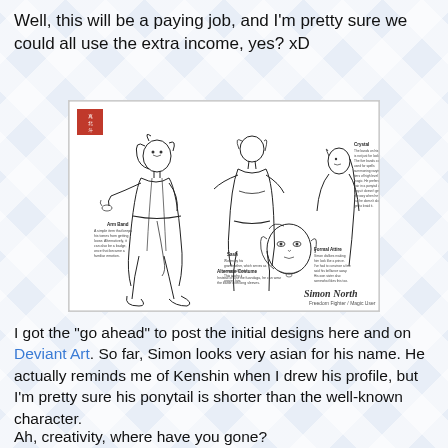Well, this will be a paying job, and I'm pretty sure we could all use the extra income, yes? xD
[Figure (illustration): Manga character design sheet for 'Simon North - Freedom Fighter / Magic User'. Shows multiple views and poses of an anime-style male character with long hair, loose robes, and boots. Includes annotations labeling: Arm Band, Alternate Costume, Sash, Crystal, Formal Attire. Red seal stamp in top-left corner.]
I got the "go ahead" to post the initial designs here and on Deviant Art. So far, Simon looks very asian for his name. He actually reminds me of Kenshin when I drew his profile, but I'm pretty sure his ponytail is shorter than the well-known character.
Ah, creativity, where have you gone?